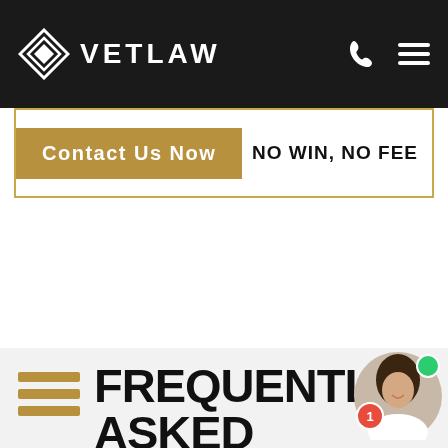[Figure (logo): VetLaw logo: diamond outline icon with VETLAW text in white on black header background]
[Figure (screenshot): Contact Us Now gold button with NO WIN, NO FEE text to the right, inside a bordered box]
FREQUENTLY ASKED QUESTIONS
[Figure (photo): Chat widget showing a smiling woman with dark hair, green online indicator dot, and red badge with number 1]